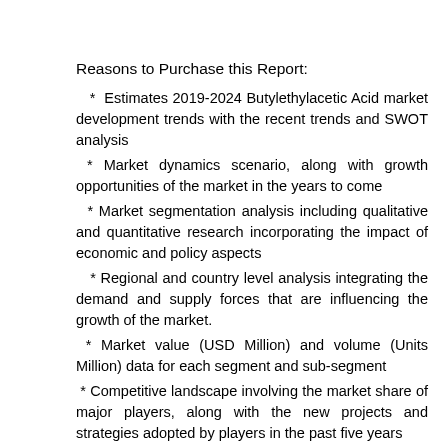Reasons to Purchase this Report:
Estimates 2019-2024 Butylethylacetic Acid market development trends with the recent trends and SWOT analysis
Market dynamics scenario, along with growth opportunities of the market in the years to come
Market segmentation analysis including qualitative and quantitative research incorporating the impact of economic and policy aspects
Regional and country level analysis integrating the demand and supply forces that are influencing the growth of the market.
Market value (USD Million) and volume (Units Million) data for each segment and sub-segment
Competitive landscape involving the market share of major players, along with the new projects and strategies adopted by players in the past five years
Comprehensive company profiles covering the product